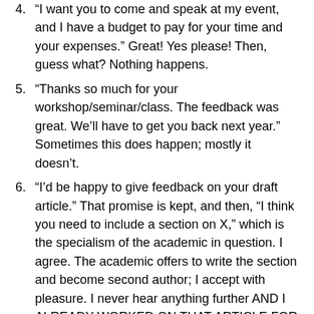"I want you to come and speak at my event, and I have a budget to pay for your time and your expenses." Great! Yes please! Then, guess what? Nothing happens.
"Thanks so much for your workshop/seminar/class. The feedback was great. We’ll have to get you back next year.” Sometimes this does happen; mostly it doesn’t.
“I’d be happy to give feedback on your draft article.” That promise is kept, and then, “I think you need to include a section on X,” which is the specialism of the academic in question. I agree. The academic offers to write the section and become second author; I accept with pleasure. I never hear anything further AND I ALREADY WORKED ON THAT ARTICLE FOR A WHOLE YEAR.
“I’d like to give you an honorary position as Visiting